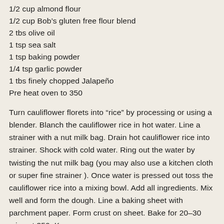1/2 cup almond flour
1/2 cup Bob's gluten free flour blend
2 tbs olive oil
1 tsp sea salt
1 tsp baking powder
1/4 tsp garlic powder
1 tbs finely chopped Jalapeño
Pre heat oven to 350
Turn cauliflower florets into “rice” by processing or using a blender. Blanch the cauliflower rice in hot water. Line a strainer with a nut milk bag. Drain hot cauliflower rice into strainer. Shock with cold water. Ring out the water by twisting the nut milk bag (you may also use a kitchen cloth or super fine strainer ). Once water is pressed out toss the cauliflower rice into a mixing bowl. Add all ingredients. Mix well and form the dough. Line a baking sheet with parchment paper. Form crust on sheet. Bake for 20–30 mins at 350. Keep an eye on